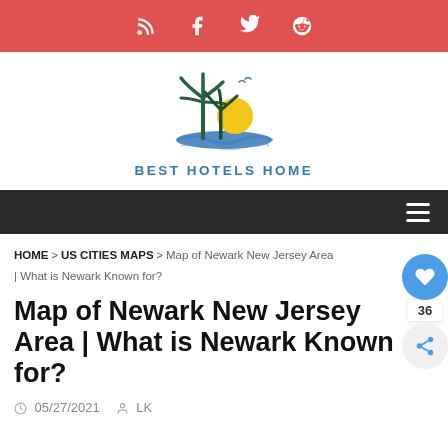Social bar with RSS, Facebook, Twitter, Reddit icons
[Figure (logo): Best Hotels Home logo — palm trees with sun and ocean, blue illustration above the text BEST HOTELS HOME]
Navigation bar with hamburger menu
HOME > US CITIES MAPS > Map of Newark New Jersey Area | What is Newark Known for?
Map of Newark New Jersey Area | What is Newark Known for?
05/27/2021   LK